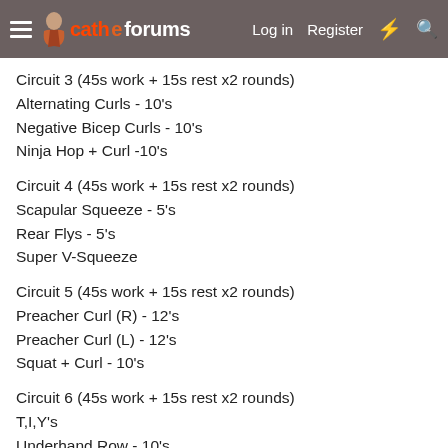cathe forums — Log in  Register
Circuit 3 (45s work + 15s rest x2 rounds)
Alternating Curls - 10's
Negative Bicep Curls - 10's
Ninja Hop + Curl -10's
Circuit 4 (45s work + 15s rest x2 rounds)
Scapular Squeeze - 5's
Rear Flys - 5's
Super V-Squeeze
Circuit 5 (45s work + 15s rest x2 rounds)
Preacher Curl (R) - 12's
Preacher Curl (L) - 12's
Squat + Curl - 10's
Circuit 6 (45s work + 15s rest x2 rounds)
T,I,Y's
Underhand Row - 10's
Plank Row + Press - 10's